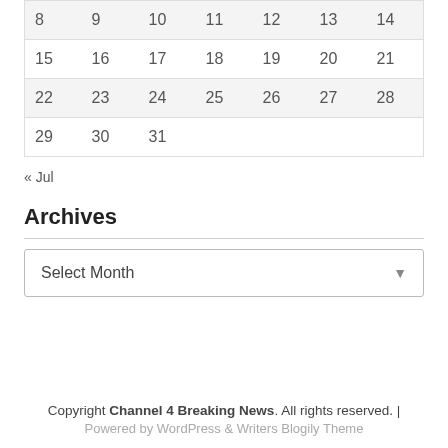| 8 | 9 | 10 | 11 | 12 | 13 | 14 |
| 15 | 16 | 17 | 18 | 19 | 20 | 21 |
| 22 | 23 | 24 | 25 | 26 | 27 | 28 |
| 29 | 30 | 31 |  |  |  |  |
« Jul
Archives
Select Month